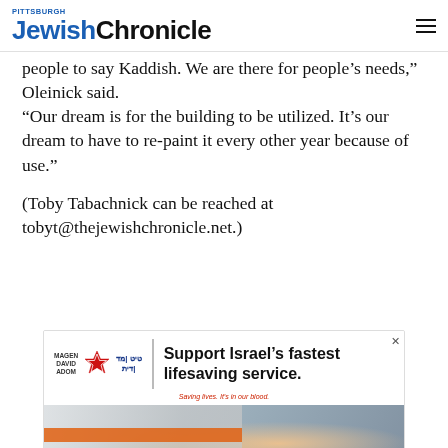Pittsburgh Jewish Chronicle
people to say Kaddish. We are there for people's needs,” Oleinick said.
“Our dream is for the building to be utilized. It’s our dream to have to re-paint it every other year because of use.”
(Toby Tabachnick can be reached at tobyt@thejewishchronicle.net.)
[Figure (other): Advertisement for Magen David Adom: 'Support Israel's fastest lifesaving service.' with logo and photo of paramedics at ambulance.]